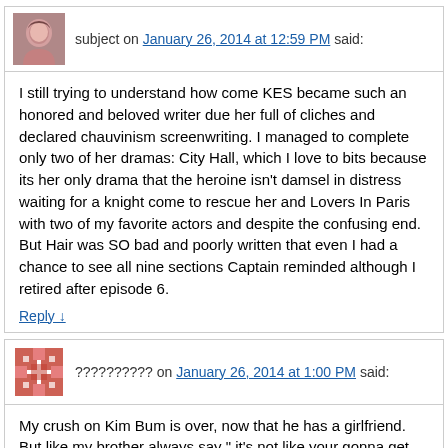subject on January 26, 2014 at 12:59 PM said:
I still trying to understand how come KES became such an honored and beloved writer due her full of cliches and declared chauvinism screenwriting. I managed to complete only two of her dramas: City Hall, which I love to bits because its her only drama that the heroine isn't damsel in distress waiting for a knight come to rescue her and Lovers In Paris with two of my favorite actors and despite the confusing end. But Hair was SO bad and poorly written that even I had a chance to see all nine sections Captain reminded although I retired after episode 6.
Reply ↓
?????????? on January 26, 2014 at 1:00 PM said:
My crush on Kim Bum is over, now that he has a girlfriend. But like my brother always say " it's not like your gonna get the a chance with the boy anyways"!! what ever brother!!!!
Reply ↓